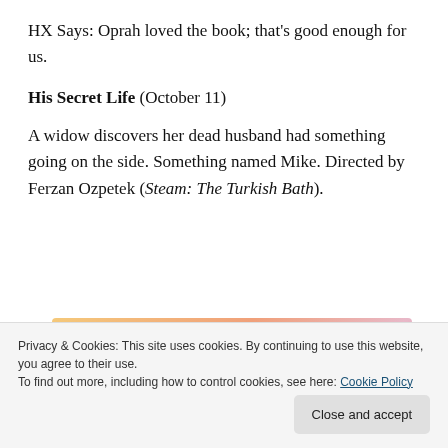HX Says: Oprah loved the book; that's good enough for us.
His Secret Life (October 11)
A widow discovers her dead husband had something going on the side. Something named Mike. Directed by Ferzan Ozpetek (Steam: The Turkish Bath).
[Figure (illustration): WordPress advertisement banner with text 'WordPress in the back.' on a colorful orange/pink gradient background.]
Privacy & Cookies: This site uses cookies. By continuing to use this website, you agree to their use.
To find out more, including how to control cookies, see here: Cookie Policy